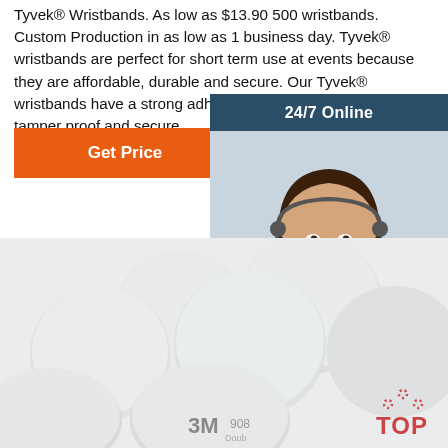Tyvek® Wristbands. As low as $13.90 500 wristbands. Custom Production in as low as 1 business day. Tyvek® wristbands are perfect for short term use at events because they are affordable, durable and secure. Our Tyvek® wristbands have a strong adhesive closure to make them tamper proof and secure.
Get Price
[Figure (infographic): 24/7 Online support widget with a customer service representative photo, 'Click here for free chat!' text, and an orange QUOTATION button on a dark blue background.]
[Figure (photo): Multiple circular 3M 908 double-sided adhesive foam pads arranged on a white background, with a 3M branding logo visible. A 'TOP' logo watermark appears in the bottom right.]